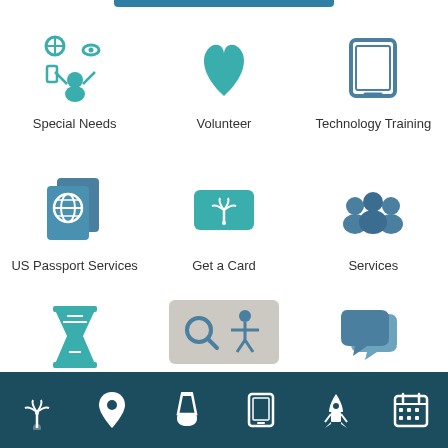[Figure (screenshot): Mobile app UI screenshot showing a grid of library service icons: Special Needs (person juggling icons), Volunteer (heart), Technology Training (tablet), US Passport Services (passport booklets), Get a Card (library card with palm tree), Services (group of people), Renew Items (hourglass), Suggest an Item (speech bubbles), with an accessibility/search overlay in the center-bottom area, and a dark teal navigation bar at the bottom with 6 icons: palm tree, location pin, flask, tablet, rocket, calendar.]
Special Needs
Volunteer
Technology Training
US Passport Services
Get a Card
Services
Renew Items
Suggest an Item